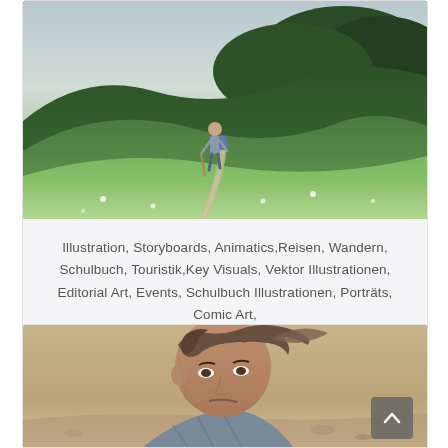[Figure (illustration): Illustration of a hiker walking along a winding path through lush green rolling hills with trees in the background]
Illustration, Storyboards, Animatics,Reisen, Wandern, Schulbuch, Touristik,Key Visuals, Vektor Illustrationen, Editorial Art, Events, Schulbuch Illustrationen, Porträts, Comic Art,
[Figure (illustration): Illustration of a man with wind-blown hair in a sandy/desert landscape, dramatic expression]